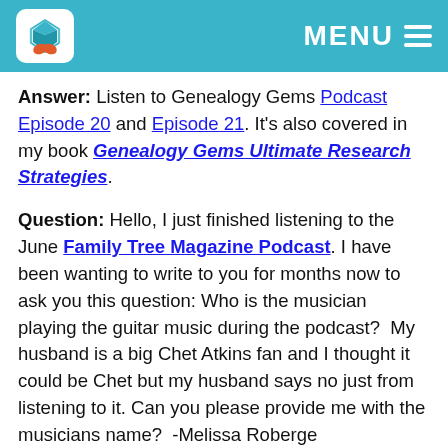MENU
Answer: Listen to Genealogy Gems Podcast Episode 20 and Episode 21. It's also covered in my book Genealogy Gems Ultimate Research Strategies.
Question: Hello, I just finished listening to the June Family Tree Magazine Podcast. I have been wanting to write to you for months now to ask you this question: Who is the musician playing the guitar music during the podcast?  My husband is a big Chet Atkins fan and I thought it could be Chet but my husband says no just from listening to it. Can you please provide me with the musicians name?  -Melissa Roberge
Listen to this episode to find out the answer!